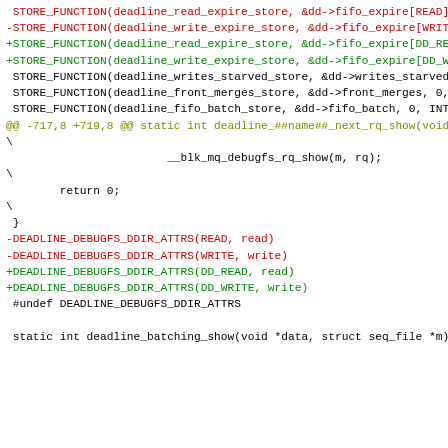Code diff showing STORE_FUNCTION and DEADLINE_DEBUGFS_DDIR_ATTRS changes with removed and added lines in a git patch format